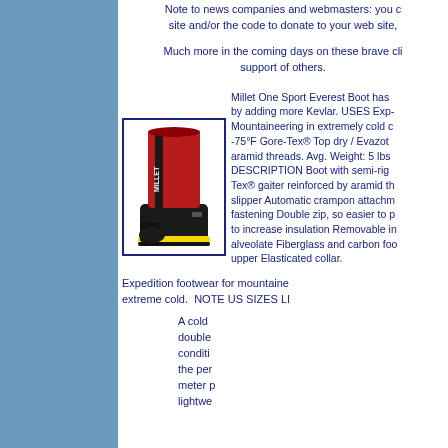Note to news companies and webmasters: you can link to our site and/or the code to donate to your web site,
Much more in the coming days on these brave cli support of others.
[Figure (photo): Millet One Sport Everest Boot - a tall mountaineering boot with red upper gaiter and black lower shell with yellow sole]
Millet One Sport Everest Boot has by adding more Kevlar. USES Exp- Mountaineering in extremely cold c -75°F Gore-Tex® Top dry / Evazot aramid threads. Avg. Weight: 5 lbs DESCRIPTION Boot with semi-rig Tex® gaiter reinforced by aramid th slipper Automatic crampon attachm fastening Double zip, so easier to p to increase insulation Removable in alveolate Fiberglass and carbon foo upper Elasticated collar.
Expedition footwear for mountaine extreme cold.  NOTE US SIZES LI
A cold double conditi the per meter p lightwe